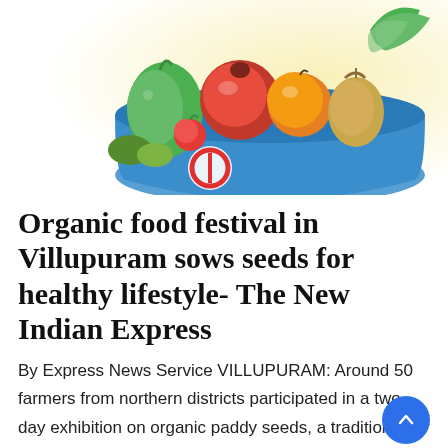[Figure (illustration): Colorful illustration of a blue shopping basket filled with various vegetables and fruits including green vegetables, red tomatoes, an orange, and leafy greens, on a light yellow background.]
Organic food festival in Villupuram sows seeds for healthy lifestyle- The New Indian Express
By Express News Service VILLUPURAM: Around 50 farmers from northern districts participated in a two-day exhibition on organic paddy seeds, a traditional food festival [...]